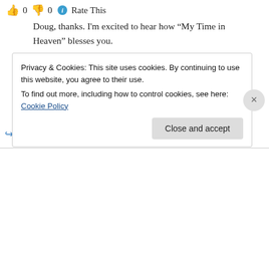0   0   Rate This
Doug, thanks. I'm excited to hear how “My Time in Heaven” blesses you.
You & GraceforGrace obviously have lots of godly character in you. You’re like friends, and it's sincerely a privilege to “hang out” with you!
★ Like
↪ Reply
Privacy & Cookies: This site uses cookies. By continuing to use this website, you agree to their use.
To find out more, including how to control cookies, see here: Cookie Policy
Close and accept